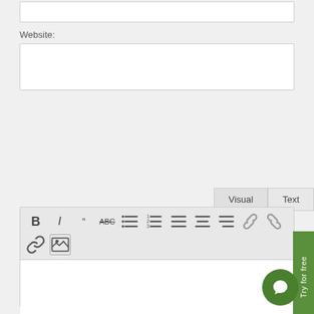[Figure (screenshot): Top input box (empty text field)]
Website:
[Figure (screenshot): Website input text field (empty)]
[Figure (screenshot): Visual/Text tab bar with Visual and Text tabs]
[Figure (screenshot): Rich text editor toolbar with Bold, Italic, Quote, Strikethrough, Unordered List, Ordered List, and alignment buttons, plus undo/redo, link and image buttons. Below is an empty editor body area.]
[Figure (screenshot): Green 'Try for free' vertical CTA tab on right edge]
[Figure (screenshot): Green circular chat button at bottom right]